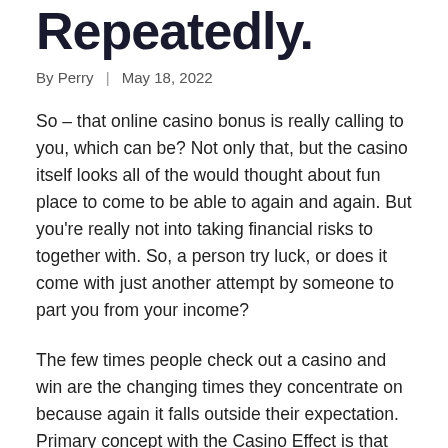Repeatedly.
By Perry | May 18, 2022
So – that online casino bonus is really calling to you, which can be? Not only that, but the casino itself looks all of the would thought about fun place to come to be able to again and again. But you're really not into taking financial risks to together with. So, a person try luck, or does it come with just another attempt by someone to part you from your income?
The few times people check out a casino and win are the changing times they concentrate on because again it falls outside their expectation. Primary concept with the Casino Effect is that